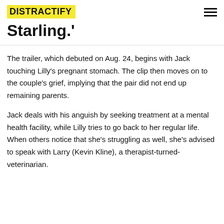DISTRACTIFY
Starling.'
The trailer, which debuted on Aug. 24, begins with Jack touching Lilly's pregnant stomach. The clip then moves on to the couple's grief, implying that the pair did not end up remaining parents.
Jack deals with his anguish by seeking treatment at a mental health facility, while Lilly tries to go back to her regular life. When others notice that she's struggling as well, she's advised to speak with Larry (Kevin Kline), a therapist-turned-veterinarian.